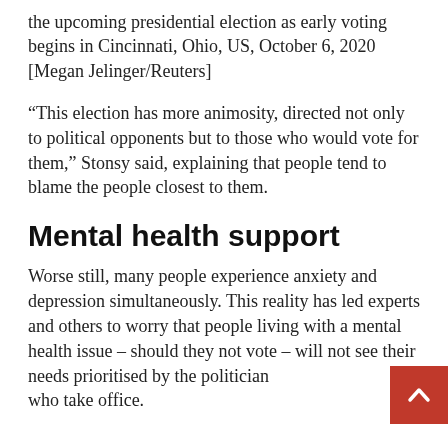the upcoming presidential election as early voting begins in Cincinnati, Ohio, US, October 6, 2020 [Megan Jelinger/Reuters]
“This election has more animosity, directed not only to political opponents but to those who would vote for them,” Stonsy said, explaining that people tend to blame the people closest to them.
Mental health support
Worse still, many people experience anxiety and depression simultaneously. This reality has led experts and others to worry that people living with a mental health issue – should they not vote – will not see their needs prioritised by the politicians who take office.